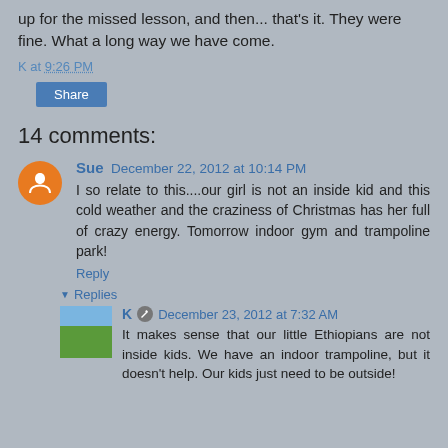up for the missed lesson, and then... that's it. They were fine. What a long way we have come.
K at 9:26 PM
Share
14 comments:
Sue  December 22, 2012 at 10:14 PM
I so relate to this....our girl is not an inside kid and this cold weather and the craziness of Christmas has her full of crazy energy. Tomorrow indoor gym and trampoline park!
Reply
Replies
K  December 23, 2012 at 7:32 AM
It makes sense that our little Ethiopians are not inside kids. We have an indoor trampoline, but it doesn't help. Our kids just need to be outside!